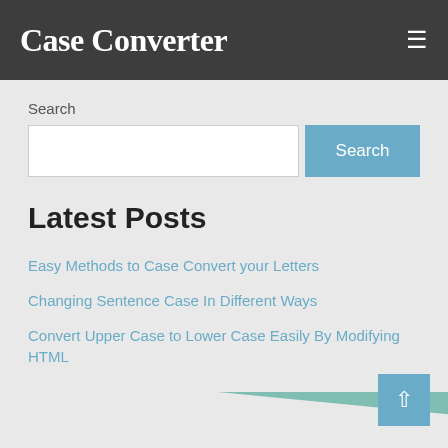Case Converter
Search
Latest Posts
Easy Methods to Case Convert your Letters
Changing Sentence Case In Different Ways
Convert Upper Case to Lower Case Easily By Modifying HTML
[Figure (illustration): Teal/green right-pointing triangle graphic at bottom of page]